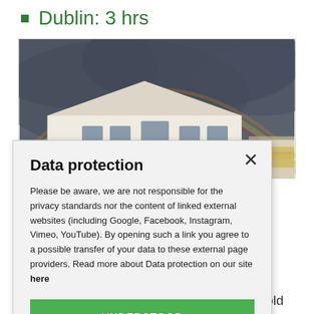Dublin: 3 hrs
[Figure (photo): A building with a double rainbow in a dramatic cloudy grey sky. White building facade visible in lower portion.]
Data protection
Please be aware, we are not responsible for the privacy standards nor the content of linked external websites (including Google, Facebook, Instagram, Vimeo, YouTube). By opening such a link you agree to a possible transfer of your data to these external page providers. Read more about Data protection on our site here
UNDERSTOOD
Coach House Lodge B&B is a 200 year old